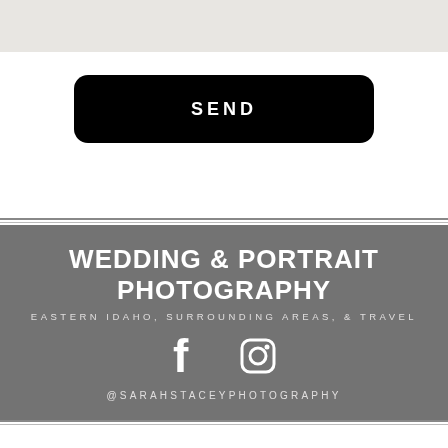[Figure (screenshot): Gray input field bar at the top of the page]
[Figure (screenshot): Black rounded rectangle SEND button]
SEND
WEDDING & PORTRAIT PHOTOGRAPHY
EASTERN IDAHO, SURROUNDING AREAS, & TRAVEL
[Figure (illustration): Facebook and Instagram social media icons in white]
@SARAHSTACEYPHOTOGRAPHY